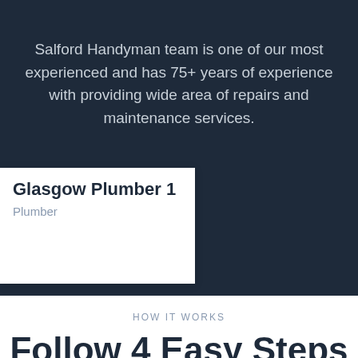Salford Handyman team is one of our most experienced and has 75+ years of experience with providing wide area of repairs and maintenance services.
Glasgow Plumber 1
Plumber
HOW IT WORKS
Follow 4 Easy Steps
With Handyman Hunter you no